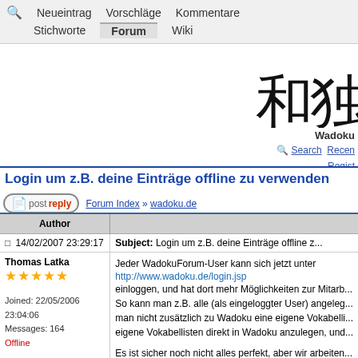Neueintrag   Vorschläge   Kommentare
Stichworte   Forum   Wiki
[Figure (other): Japanese kanji characters 和独 in large serif font]
Wadoku
Search   Recent   Register
Login um z.B. deine Einträge offline zu verwenden
postreply   Forum Index » wadoku.de
| Author |  |
| --- | --- |
| 14/02/2007 23:29:17 | Subject: Login um z.B. deine Einträge offline z... |
| Thomas Latka
★★★★★
Joined: 22/05/2006 23:04:06
Messages: 164
Offline | Jeder WadokuForum-User kann sich jetzt unter http://www.wadoku.de/login.jsp einloggen, und hat dort mehr Möglichkeiten zur Mitarbeit. So kann man z.B. alle (als eingeloggter User) angelegte... man nicht zusätzlich zu Wadoku eine eigene Vokabelliste... eigene Vokabellisten direkt in Wadoku anzulegen, und...

Es ist sicher noch nicht alles perfekt, aber wir arbeiten...

Grüße |